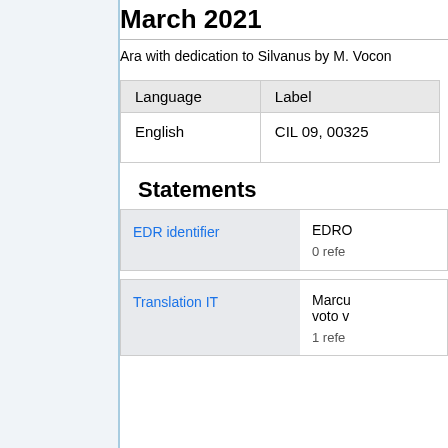March 2021
Ara with dedication to Silvanus by M. Vocon
| Language | Label |
| --- | --- |
| English | CIL 09, 00325 |
Statements
| EDR identifier | EDRO |
| --- | --- |
|  | 0 refe |
| Translation IT | Marcu voto v |
| --- | --- |
|  | 1 refe |